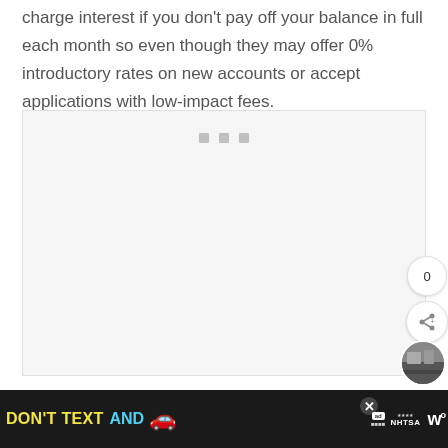charge interest if you don't pay off your balance in full each month so even though they may offer 0% introductory rates on new accounts or accept applications with low-impact fees.
[Figure (other): Large empty light grey content placeholder box with three small grey square dots near the top center, indicating an embedded media element loading or unavailable.]
[Figure (screenshot): Social share widget showing count '0' and a share icon button.]
[Figure (screenshot): Circular thumbnail image of a city scene.]
DON'T TEXT AND [car icon] ad NHTSA [W logo]